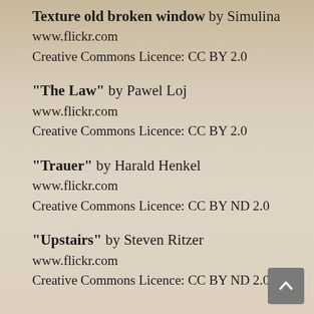"Texture  old broken window"  by Simulina
www.flickr.com
Creative Commons Licence: CC BY 2.0
"The Law" by Pawel Loj
www.flickr.com
Creative Commons Licence: CC BY 2.0
"Trauer" by Harald Henkel
www.flickr.com
Creative Commons Licence: CC BY ND 2.0
"Upstairs" by Steven Ritzer
www.flickr.com
Creative Commons Licence: CC BY ND 2.0